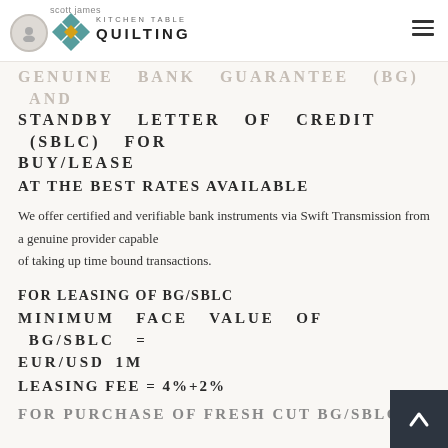scott james | Kitchen Table Quilting
GENUINE BANK GUARANTEE (BG) AND STANDBY LETTER OF CREDIT (SBLC) FOR BUY/LEASE
AT THE BEST RATES AVAILABLE
We offer certified and verifiable bank instruments via Swift Transmission from a genuine provider capable of taking up time bound transactions.
FOR LEASING OF BG/SBLC
MINIMUM FACE VALUE OF BG/SBLC = EUR/USD 1M
LEASING FEE = 4%+2%
FOR PURCHASE OF FRESH CUT BG/SBLC